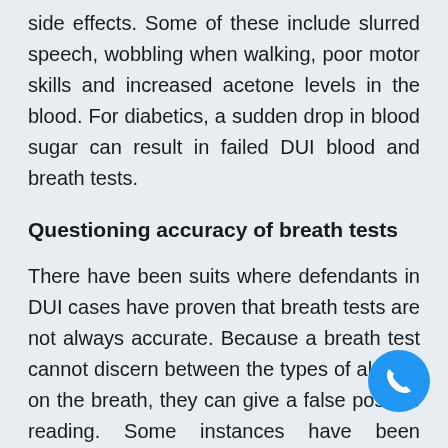side effects. Some of these include slurred speech, wobbling when walking, poor motor skills and increased acetone levels in the blood. For diabetics, a sudden drop in blood sugar can result in failed DUI blood and breath tests.
Questioning accuracy of breath tests
There have been suits where defendants in DUI cases have proven that breath tests are not always accurate. Because a breath test cannot discern between the types of alcohol on the breath, they can give a false positive reading. Some instances have been reported where someone who has not had anything to drink fails a test due to high acetone levels. Diabetics, people who have been working in areas where spray paint is